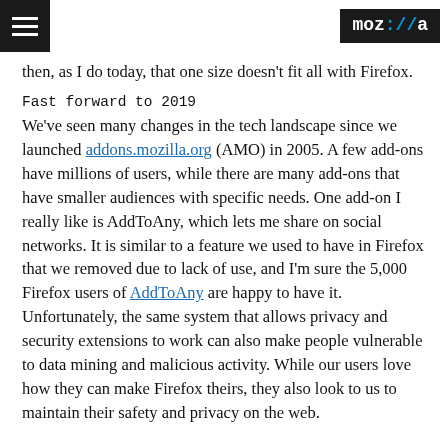moz://a
then, as I do today, that one size doesn't fit all with Firefox.
Fast forward to 2019
We've seen many changes in the tech landscape since we launched addons.mozilla.org (AMO) in 2005. A few add-ons have millions of users, while there are many add-ons that have smaller audiences with specific needs. One add-on I really like is AddToAny, which lets me share on social networks. It is similar to a feature we used to have in Firefox that we removed due to lack of use, and I'm sure the 5,000 Firefox users of AddToAny are happy to have it. Unfortunately, the same system that allows privacy and security extensions to work can also make people vulnerable to data mining and malicious activity. While our users love how they can make Firefox theirs, they also look to us to maintain their safety and privacy on the web.